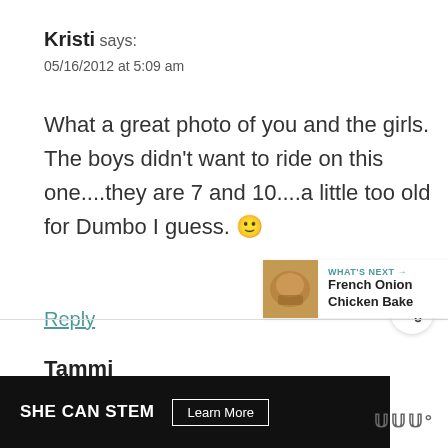Kristi says:
05/16/2012 at 5:09 am
What a great photo of you and the girls. The boys didn't want to ride on this one....they are 7 and 10....a little too old for Dumbo I guess. 🙂
Reply
[Figure (other): Share button icon (circular button with share symbol)]
[Figure (other): What's Next widget showing a food photo thumbnail with text 'French Onion Chicken Bake']
Tammi
[Figure (other): Advertisement bar: SHE CAN STEM Learn More]